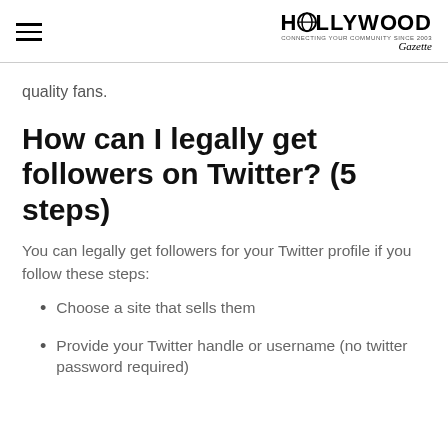HOLLYWOOD
quality fans.
How can I legally get followers on Twitter? (5 steps)
You can legally get followers for your Twitter profile if you follow these steps:
Choose a site that sells them
Provide your Twitter handle or username (no twitter password required)